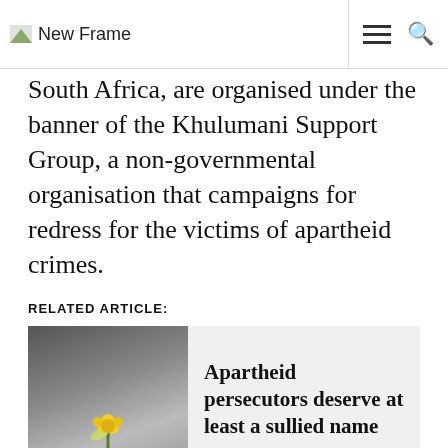New Frame
South Africa, are organised under the banner of the Khulumani Support Group, a non-governmental organisation that campaigns for redress for the victims of apartheid crimes.
RELATED ARTICLE:
[Figure (photo): A person holding yellow flowers against a dark background]
Apartheid persecutors deserve at least a sullied name
The road that has led them to the Constitutional Court has been a long one. Neither...